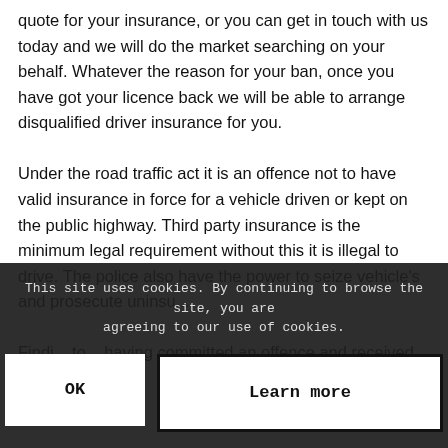quote for your insurance, or you can get in touch with us today and we will do the market searching on your behalf. Whatever the reason for your ban, once you have got your licence back we will be able to arrange disqualified driver insurance for you.

Under the road traffic act it is an offence not to have valid insurance in force for a vehicle driven or kept on the public highway. Third party insurance is the minimum legal requirement without this it is illegal to drive. The police also have the power to seize vehicle's and prosecute uninsu...

Findi... to... having committed an offence and received penalty
This site uses cookies. By continuing to browse the site, you are agreeing to our use of cookies.
OK
Learn more